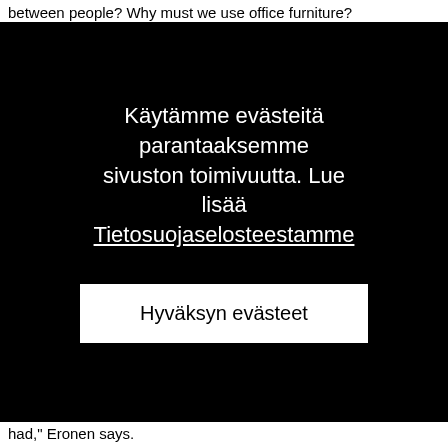between people? Why must we use office furniture?
[Figure (screenshot): Black cookie consent modal overlay with Finnish text reading 'Käytämme evästeitä parantaaksemme sivuston toimivuutta. Lue lisää Tietosuojaselosteestamme' and a white button labeled 'Hyväksyn evästeet']
had," Eronen says.